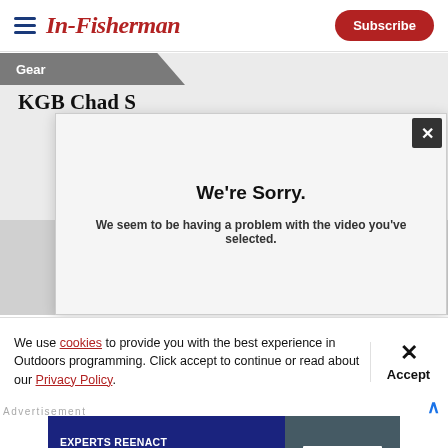In-Fisherman - Subscribe
Gear
KGB Chad S
[Figure (screenshot): Video error modal overlay showing 'We're Sorry. We seem to be having a problem with the video you've selected.' with a close (X) button in the top right corner, over a gray video player area with a play button circle at the bottom.]
We're Sorry.
We seem to be having a problem with the video you've selected.
We use cookies to provide you with the best experience in Outdoors programming. Click accept to continue or read about our Privacy Policy.
Advertisement
[Figure (screenshot): Advertisement banner: dark navy blue background with white bold text reading 'EXPERTS REENACT A TERRIFYING COLLISION ON THE CHESAPEAKE' on the left, and a 'LEARN MORE' button on a gray background image on the right.]